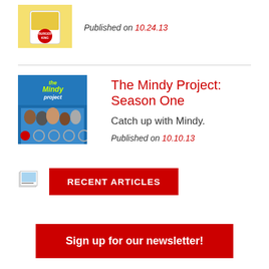[Figure (photo): Burger King cup with fries thumbnail]
Published on 10.24.13
[Figure (photo): The Mindy Project Season One TV show cover with cast members]
The Mindy Project: Season One
Catch up with Mindy.
Published on 10.10.13
RECENT ARTICLES
Sign up for our newsletter!